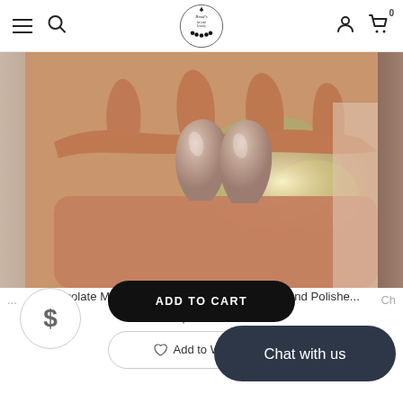Beads for your Jewelry — navigation header with logo, hamburger menu, search, account, and cart icons
[Figure (photo): A hand holding two teardrop-shaped chocolate moonstone cabochons with a polished mauve-taupe finish, against a blurred floral background]
Chocolate Moonstone Matching Pair Drops | Hand Polishe…
$14.00
ADD TO CART
♡ Add to Wishlist
Chat with us